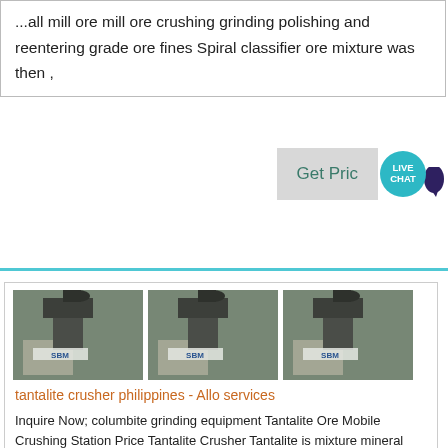...all mill ore mill ore crushing grinding polishing and reentering grade ore fines Spiral classifier ore mixture was then ,
[Figure (screenshot): Get Price button with Live Chat bubble icon overlay]
[Figure (photo): Three repeated photos of industrial crushing/grinding machine with SBM branding label]
tantalite crusher philippines - Allo services
Inquire Now; columbite grinding equipment Tantalite Ore Mobile Crushing Station Price Tantalite Crusher Tantalite is mixture mineral contain iron, manganese, tantalum oxide Tantalite is the principal ore mineral of tantalum Tantalum and niobium ore and iron ore wolframite, cassiterite, fine spar are is an acid corrosion of metal, used in...